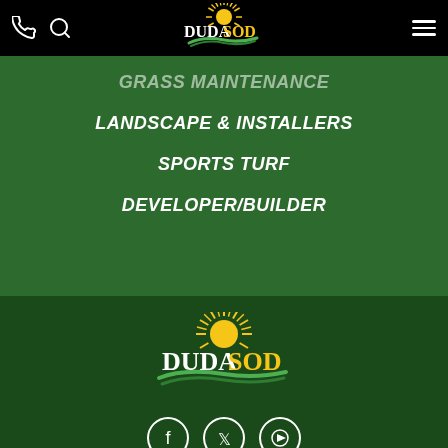[Figure (logo): DudaSod logo in top navbar on black background with phone and search icons on left and hamburger menu on right]
GRASS MAINTENANCE
LANDSCAPE & INSTALLERS
SPORTS TURF
DEVELOPER/BUILDER
[Figure (logo): DudaSod logo centered in dark green footer section with sun rays and green grass swoosh]
[Figure (infographic): Three social media icons in circles: Facebook, Twitter, YouTube]
Disclaimer and Privacy Policy